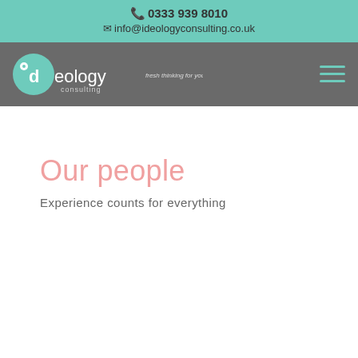0333 939 8010  info@ideologyconsulting.co.uk
[Figure (logo): Ideology Consulting logo with tagline 'fresh thinking for your business' on grey navigation bar]
Our people
Experience counts for everything